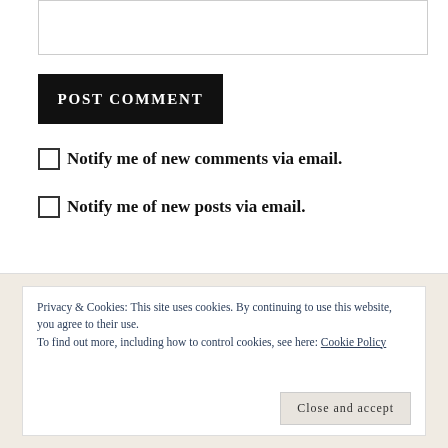[Figure (other): Text input textarea box (empty comment field)]
POST COMMENT
Notify me of new comments via email.
Notify me of new posts via email.
Privacy & Cookies: This site uses cookies. By continuing to use this website, you agree to their use.
To find out more, including how to control cookies, see here: Cookie Policy
Close and accept